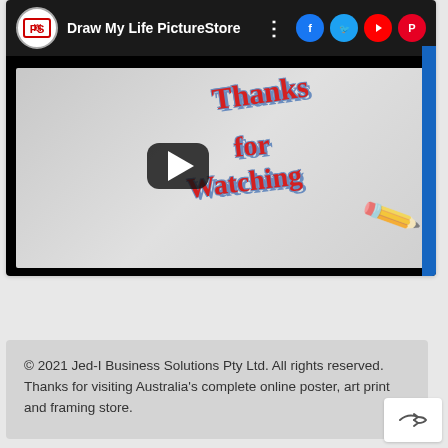[Figure (screenshot): YouTube-style embedded video player showing 'Draw My Life PictureStore' channel with a thumbnail of a hand drawing 'Thanks for Watching' text. Social media icons (Facebook, Twitter, YouTube, Pinterest) are visible in the top bar.]
© 2021 Jed-I Business Solutions Pty Ltd. All rights reserved. Thanks for visiting Australia's complete online poster, art print and framing store.